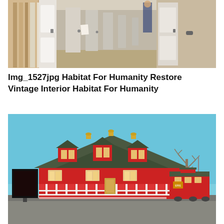[Figure (photo): Indoor hallway photo showing a construction or renovation scene at a Habitat for Humanity Restore, with doors and building materials leaning against walls along a corridor]
Img_1527jpg Habitat For Humanity Restore Vintage Interior Habitat For Humanity
[Figure (photo): Exterior photo of a large red barn-style building with a green gambrel roof and gold cupolas, featuring a covered porch and a red caboose to the right side, with a sign board on the left and a bare tree visible; appears to be a vintage restaurant or inn]